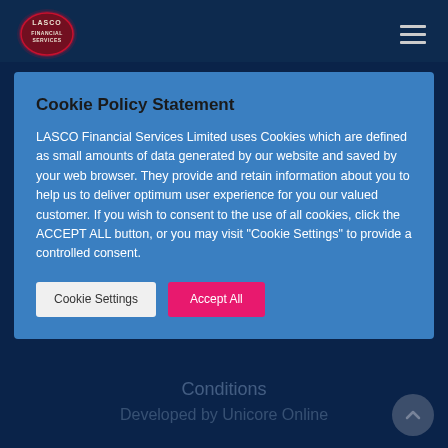LASCO Financial Services – navigation header with logo and hamburger menu
Cookie Policy Statement
LASCO Financial Services Limited uses Cookies which are defined as small amounts of data generated by our website and saved by your web browser. They provide and retain information about you to help us to deliver optimum user experience for you our valued customer. If you wish to consent to the use of all cookies, click the ACCEPT ALL button, or you may visit "Cookie Settings" to provide a controlled consent.
Cookie Settings | Accept All
Conditions
Developed by Unicore Online